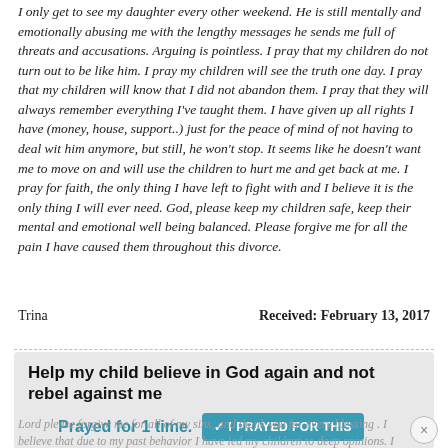I only get to see my daughter every other weekend. He is still mentally and emotionally abusing me with the lengthy messages he sends me full of threats and accusations. Arguing is pointless. I pray that my children do not turn out to be like him. I pray my children will see the truth one day. I pray that my children will know that I did not abandon them. I pray that they will always remember everything I've taught them. I have given up all rights I have (money, house, support..) just for the peace of mind of not having to deal wit him anymore, but still, he won't stop. It seems like he doesn't want me to move on and will use the children to hurt me and get back at me. I pray for faith, the only thing I have left to fight with and I believe it is the only thing I will ever need. God, please keep my children safe, keep their mental and emotional well being balanced. Please forgive me for all the pain I have caused them throughout this divorce.
Trina
Received: February 13, 2017
Help my child believe in God again and not rebel against me
Prayed for 1 time.
Lord please forgive me for all of my sins, and thank you for every blessing . I believe that due to my past behavior I have led my children to deep opinions. I have also prayed for...